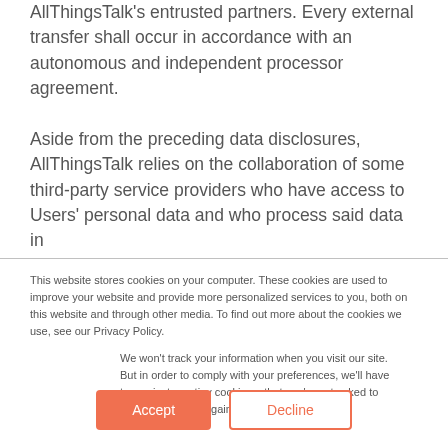AllThingsTalk's entrusted partners. Every external transfer shall occur in accordance with an autonomous and independent processor agreement.
Aside from the preceding data disclosures, AllThingsTalk relies on the collaboration of some third-party service providers who have access to Users' personal data and who process said data in
This website stores cookies on your computer. These cookies are used to improve your website and provide more personalized services to you, both on this website and through other media. To find out more about the cookies we use, see our Privacy Policy.
We won't track your information when you visit our site. But in order to comply with your preferences, we'll have to use just one tiny cookie so that you're not asked to make this choice again.